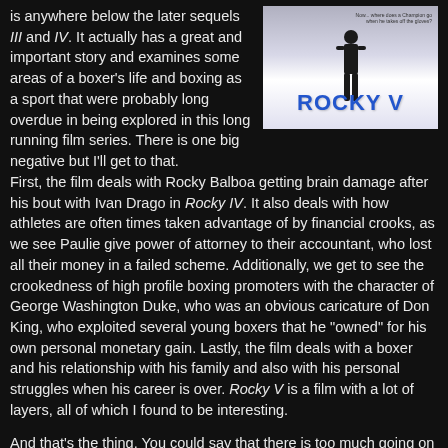is anywhere below the later sequels III and IV. It actually has a great and important story and examines some areas of a boxer's life and boxing as a sport that were probably long overdue in being explored in this long running film series. There is one big negative but I'll get to that.
[Figure (photo): Rocky V movie poster showing a silhouette figure and the title 'ROCKY V' in large blue letters with a tagline]
First, the film deals with Rocky Balboa getting brain damage after his bout with Ivan Drago in Rocky IV. It also deals with how athletes are often times taken advantage of by financial crooks, as we see Paulie give power of attorney to their accountant, who lost all their money in a failed scheme. Additionally, we get to see the crookedness of high profile boxing promoters with the character of George Washington Duke, who was an obvious caricature of Don King, who exploited several young boxers that he "owned" for his own personal monetary gain. Lastly, the film deals with a boxer and his relationship with his family and also with his personal struggles when his career is over. Rocky V is a film with a lot of layers, all of which I found to be interesting.
And that's the thing. You could say that there is too much going on in Rocky V from a narrative aspect but I like that the film addresses these issues, shows them play out naturally and doesn't have to spell everything out for the audience or beat them over the head with each issue. It doesn't take a rocket scientist to recognize the challenges as they appear and to understand that